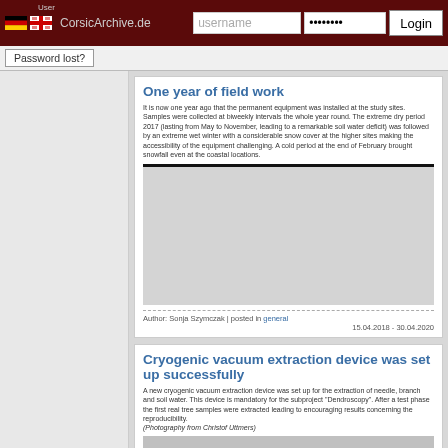CorsicArchive.de — Login header with username, password, Login button, flags
Password lost?
One year of field work
It is now one year ago that the permanent equipment was installed at the study sites. Samples were collected at biweekly intervals the whole year round. The extreme dry period 2017 (lasting from May to November, leading to a remarkable soil water deficit) was followed by an extreme wet winter with a considerable snow cover at the higher sites making the accessibility of the equipment challenging. A cold period at the end of February brought snowfall even at the coastal locations.
[Figure (photo): Gray placeholder image for field work article]
Author: Sonja Szymczak | posted in general
15.04.2018 - 30.04.2020
Cryogenic vacuum extraction device was set up successfully
A new cryogenic vacuum extraction device was set up for the extraction of needle, branch and soil water. This device is mandatory for the subproject "Dendroscopy". After a test phase the first real tree samples were extracted leading to encouraging results concerning the reproducibility.
(Photography from Christof Uttmers)
[Figure (photo): Partial photo visible at bottom of page for cryogenic device article]